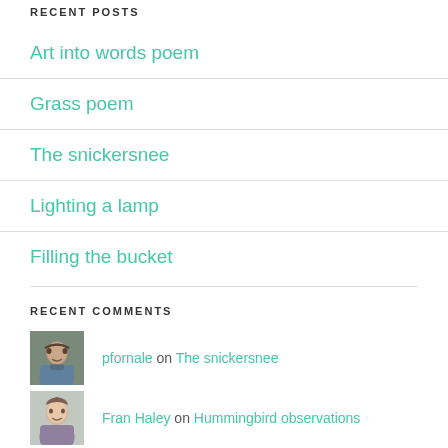RECENT POSTS
Art into words poem
Grass poem
The snickersnee
Lighting a lamp
Filling the bucket
RECENT COMMENTS
pfornale on The snickersnee
Fran Haley on Hummingbird observations